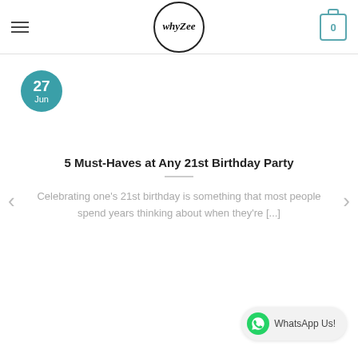whyZee [logo header with hamburger menu and cart icon showing 0]
[Figure (other): Teal circular date badge showing '27 Jun']
5 Must-Haves at Any 21st Birthday Party
Celebrating one’s 21st birthday is something that most people spend years thinking about when they’re [...]
[Figure (other): WhatsApp Us! button with WhatsApp green logo icon]